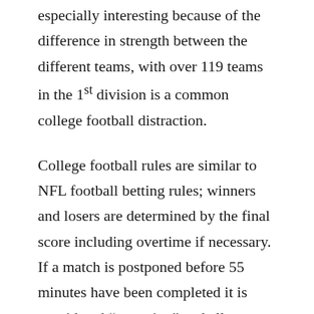especially interesting because of the difference in strength between the different teams, with over 119 teams in the 1st division is a common college football distraction.
College football rules are similar to NFL football betting rules; winners and losers are determined by the final score including overtime if necessary. If a match is postponed before 55 minutes have been completed it is considered “no action” and all Roulette Online Uang Asli click bets are refunded.